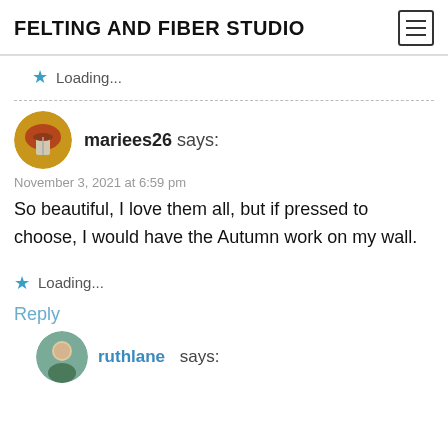FELTING AND FIBER STUDIO
Loading...
mariees26 says:
November 3, 2021 at 6:59 pm
So beautiful, I love them all, but if pressed to choose, I would have the Autumn work on my wall.
Loading...
Reply
ruthlane says: